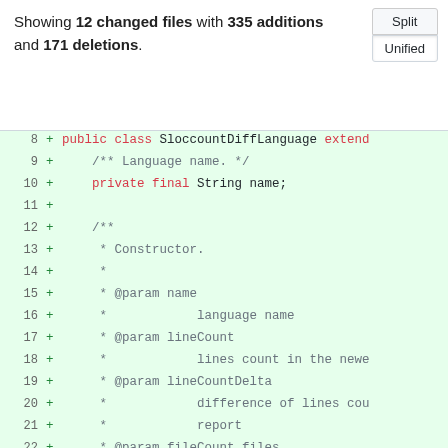Showing 12 changed files with 335 additions and 171 deletions.
[Figure (screenshot): Split/Unified toggle buttons]
Code diff showing lines 8-25 of SloccountDiffLanguage class addition, green background indicating added lines